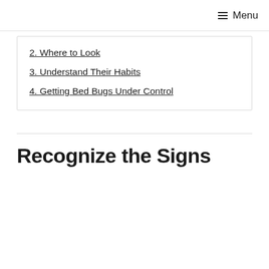☰ Menu
2. Where to Look
3. Understand Their Habits
4. Getting Bed Bugs Under Control
Recognize the Signs